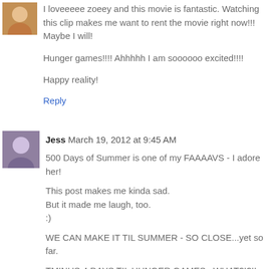[Figure (photo): Small avatar image of a person in top-left corner]
I loveeeee zoeey and this movie is fantastic. Watching this clip makes me want to rent the movie right now!!! Maybe I will!

Hunger games!!!! Ahhhhh I am soooooo excited!!!!

Happy reality!
Reply
[Figure (photo): Small avatar image of Jess]
Jess March 19, 2012 at 9:45 AM
500 Days of Summer is one of my FAAAAVS - I adore her!

This post makes me kinda sad.
But it made me laugh, too.
:)

WE CAN MAKE IT TIL SUMMER - SO CLOSE...yet so far.

TMINUS 4 DAYS TIL HUNGER GAMES...WHAT?!?!!
YESSS.